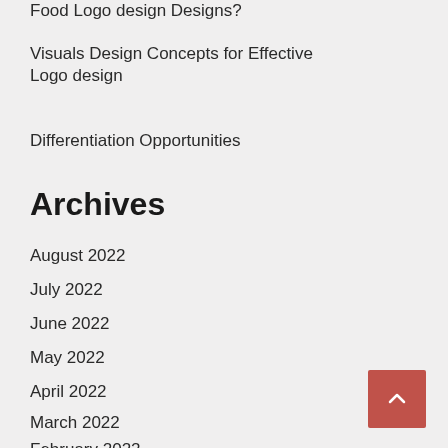Food Logo design Designs?
Visuals Design Concepts for Effective Logo design
Differentiation Opportunities
Archives
August 2022
July 2022
June 2022
May 2022
April 2022
March 2022
February 2022